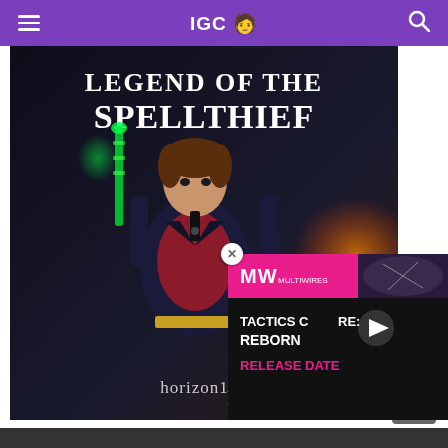IGC 🧑 (with hamburger menu and search icon)
[Figure (illustration): Game cover art for 'Legend of the Spellthief' showing an anime-style male character in a dark jacket and red shirt holding a glowing green weapon, with explosion effects in background. Title text reads 'LEGEND OF THE SPELLTHIEF' and creator tag 'horizon108'.]
[Figure (screenshot): Overlay video ad for 'Tactics Core: Reborn - Release Date' with pink MW network header, play button, and action game imagery.]